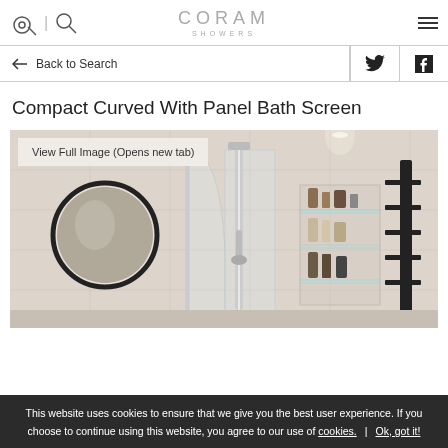CORAM SHOWERS
Back to Search
Compact Curved With Panel Bath Screen
[Figure (photo): Bathroom scene showing a curved bath screen with panel, a round mirror, wall-mounted shelving unit with toiletries, and a heated towel rail. The shower area has a chrome shower column. Overlaid with 'View Full Image (Opens new tab)' button.]
This website uses cookies to ensure that we give you the best user experience. If you choose to continue using this website, you agree to our use of cookies. | Ok, got it!